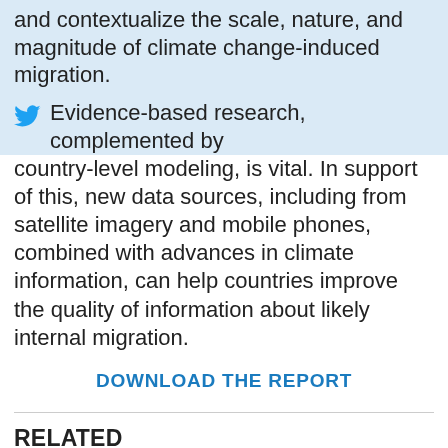and contextualize the scale, nature, and magnitude of climate change-induced migration.
Evidence-based research, complemented by country-level modeling, is vital. In support of this, new data sources, including from satellite imagery and mobile phones, combined with advances in climate information, can help countries improve the quality of information about likely internal migration.
DOWNLOAD THE REPORT
RELATED
WORLD BANK
Download the Report